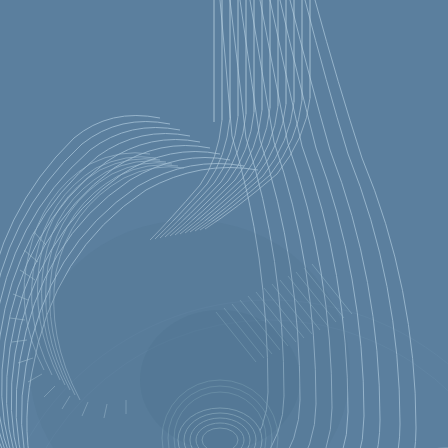[Figure (schematic): Abstract engineering schematic illustration on a steel blue background. The image shows a complex arrangement of curved and straight parallel lines forming a stylized mechanical or circuit-like design. On the left side, concentric arc lines form a partial gear or spiral shape with small radiating tick marks. In the center, multiple vertical parallel lines descend from the top and curve leftward into a large spiral/circular formation. On the right side, curved lines sweep outward horizontally. In the center of the circular formation is a small oval/elliptical shape. The overall design resembles a technical blueprint or engineering diagram rendered in light blue-white lines against a muted steel blue background.]